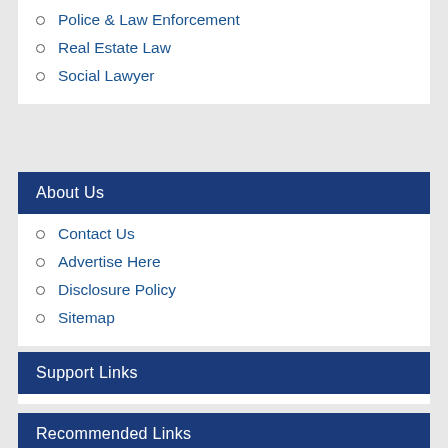Police & Law Enforcement
Real Estate Law
Social Lawyer
About Us
Contact Us
Advertise Here
Disclosure Policy
Sitemap
Support Links
Recommended Links